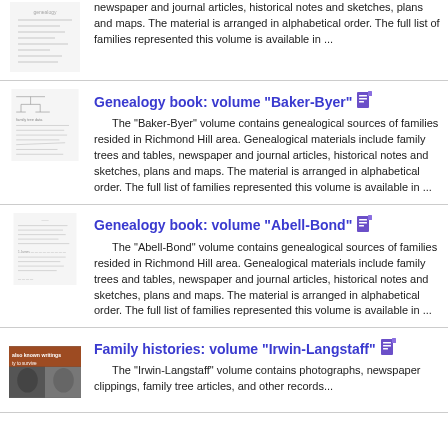newspaper and journal articles, historical notes and sketches, plans and maps. The material is arranged in alphabetical order. The full list of families represented this volume is available in ...
[Figure (illustration): Small thumbnail of a handwritten genealogy document with lines and text]
Genealogy book: volume "Baker-Byer"
The "Baker-Byer" volume contains genealogical sources of families resided in Richmond Hill area. Genealogical materials include family trees and tables, newspaper and journal articles, historical notes and sketches, plans and maps. The material is arranged in alphabetical order. The full list of families represented this volume is available in ...
[Figure (illustration): Small thumbnail of a handwritten genealogy document with lines and text]
Genealogy book: volume "Abell-Bond"
The "Abell-Bond" volume contains genealogical sources of families resided in Richmond Hill area. Genealogical materials include family trees and tables, newspaper and journal articles, historical notes and sketches, plans and maps. The material is arranged in alphabetical order. The full list of families represented this volume is available in ...
[Figure (photo): Small thumbnail showing a photo with text overlay relating to family histories]
Family histories: volume "Irwin-Langstaff"
The "Irwin-Langstaff" volume contains photographs, newspaper clippings, family tree articles, and other records...